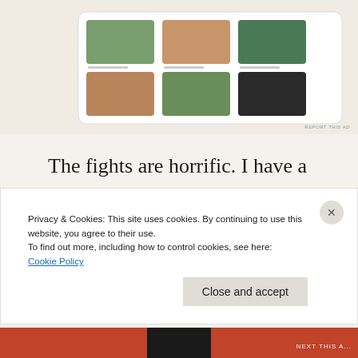[Figure (screenshot): WordPress website screenshot showing a food blog with food images and WordPress logo]
The fights are horrific. I have a vague awareness that I'm getting out of control when it starts, but almost nothing can stop it. Jordan used to be able to. He would use humor. That would almost always disable the explosion. But after a while, he changed. The man I admired so much for his kindness and patience became
Privacy & Cookies: This site uses cookies. By continuing to use this website, you agree to their use.
To find out more, including how to control cookies, see here:
Cookie Policy
Close and accept